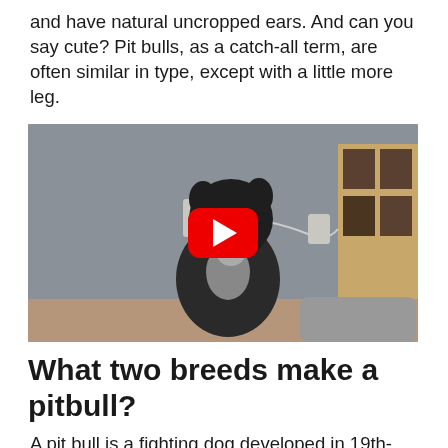and have natural uncropped ears. And can you say cute? Pit bulls, as a catch-all term, are often similar in type, except with a little more leg.
[Figure (screenshot): YouTube video thumbnail showing a dark-colored pit bull dog sitting between a sofa and a dog bed in a living room, with a red YouTube play button overlay in the center.]
What two breeds make a pitbull?
A pit bull is a fighting dog developed in 19th-